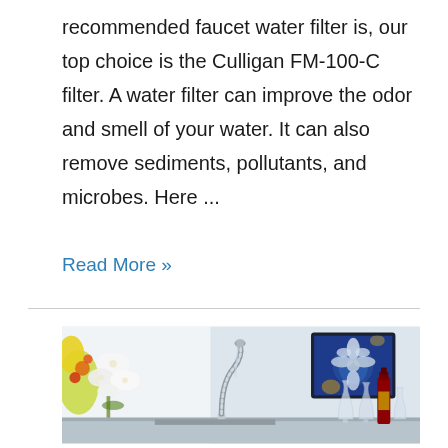recommended faucet water filter is, our top choice is the Culligan FM-100-C filter. A water filter can improve the odor and smell of your water. It can also remove sediments, pollutants, and microbes. Here ...
Read More »
[Figure (photo): Photo of a modern kitchen with a chrome pull-down faucet, white walls, white orchid flowers on the left, a blue floral wall art painting on the right, wine glasses and a red wine bottle on the counter.]